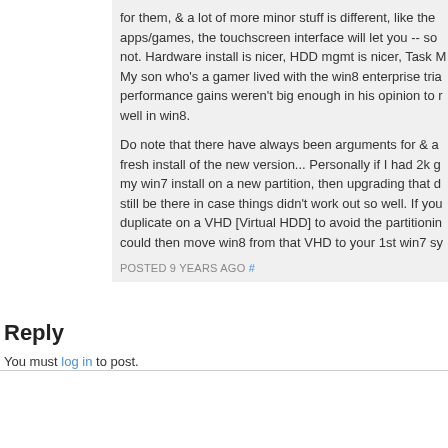for them, & a lot of more minor stuff is different, like the apps/games, the touchscreen interface will let you -- so not. Hardware install is nicer, HDD mgmt is nicer, Task M My son who's a gamer lived with the win8 enterprise tria performance gains weren't big enough in his opinion to r well in win8.
Do note that there have always been arguments for & a fresh install of the new version... Personally if I had 2k g my win7 install on a new partition, then upgrading that d still be there in case things didn't work out so well. If you duplicate on a VHD [Virtual HDD] to avoid the partitionin could then move win8 from that VHD to your 1st win7 sy
POSTED 9 YEARS AGO #
Reply
You must log in to post.